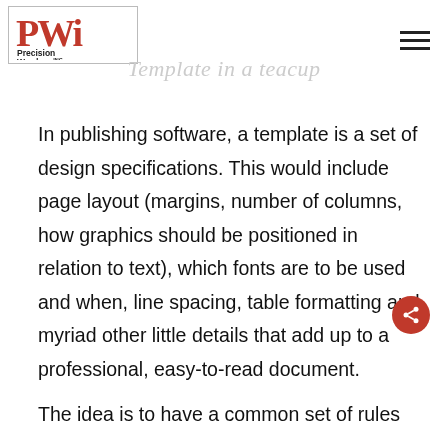[Figure (logo): Precision Wordage Inc logo with red PWI monogram and company name]
Template in a teacup
In publishing software, a template is a set of design specifications. This would include page layout (margins, number of columns, how graphics should be positioned in relation to text), which fonts are to be used and when, line spacing, table formatting and myriad other little details that add up to a professional, easy-to-read document.
The idea is to have a common set of rules